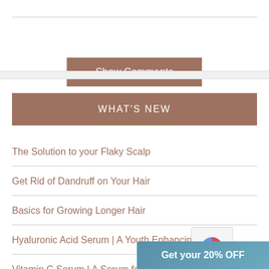Show Comments
WHAT'S NEW
The Solution to your Flaky Scalp
Get Rid of Dandruff on Your Hair
Basics for Growing Longer Hair
Hyaluronic Acid Serum | A Youth Enhancing Serum
Vitamin C Serum | A Serum for Ageless Skin
Get your 20% OFF